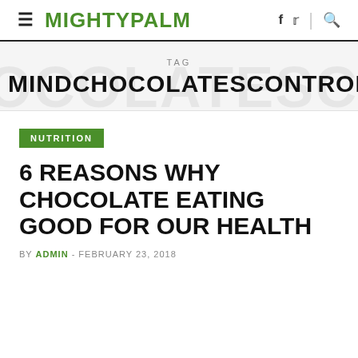≡ MIGHTYPALM  f  t  🔍
TAG
MINDCHOCOLATESCONTROL
NUTRITION
6 REASONS WHY CHOCOLATE EATING GOOD FOR OUR HEALTH
BY ADMIN - FEBRUARY 23, 2018